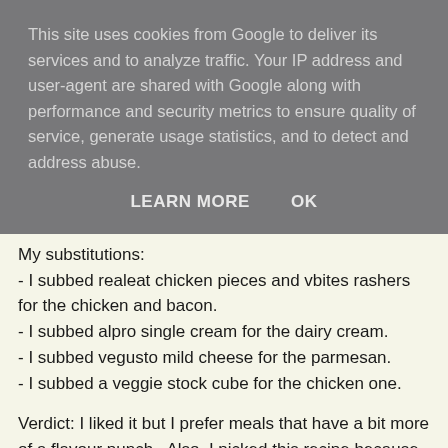This site uses cookies from Google to deliver its services and to analyze traffic. Your IP address and user-agent are shared with Google along with performance and security metrics to ensure quality of service, generate usage statistics, and to detect and address abuse.
LEARN MORE   OK
My substitutions:
- I subbed realeat chicken pieces and vbites rashers for the chicken and bacon.
- I subbed alpro single cream for the dairy cream.
- I subbed vegusto mild cheese for the parmesan.
- I subbed a veggie stock cube for the chicken one.
Verdict: I liked it but I prefer meals that have a bit more of a flavour punch.  Also, I picked this recipe because it seemed super easy but with all the pans you need it was actually kind of tricky and even though it took 10 minutes longer than it was meant to, the tatties still weren't totally cooked.
I think this would be good to serve to omniverous friends